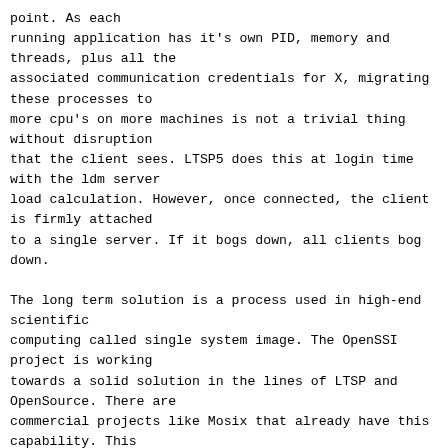point. As each
running application has it's own PID, memory and
threads, plus all the
associated communication credentials for X, migrating
these processes to
more cpu's on more machines is not a trivial thing
without disruption
that the client sees. LTSP5 does this at login time
with the ldm server
load calculation. However, once connected, the client
is firmly attached
to a single server. If it bogs down, all clients bog
down.

The long term solution is a process used in high-end
scientific
computing called single system image. The OpenSSI
project is working
towards a solid solution in the lines of LTSP and
OpenSource. There are
commercial projects like Mosix that already have this
capability. This
process provides for a stack of servers that all
provide cpu and RAM to
the cluster. A mother node monitors the load across all
machines and can
migrate a process to a less used node as needed. As
this process
migrates, all of it's associated records, ram and
connections also
migrates from foo. Therefore, your process that is